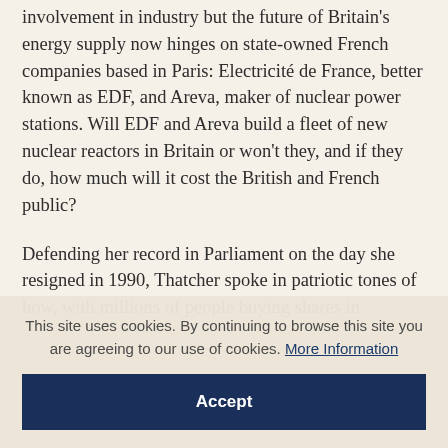involvement in industry but the future of Britain's energy supply now hinges on state-owned French companies based in Paris: Electricité de France, better known as EDF, and Areva, maker of nuclear power stations. Will EDF and Areva build a fleet of new nuclear reactors in Britain or won't they, and if they do, how much will it cost the British and French public?
Defending her record in Parliament on the day she resigned in 1990, Thatcher spoke in patriotic tones of how, with millions of people buying shares in
This site uses cookies. By continuing to browse this site you are agreeing to our use of cookies. More Information
Accept